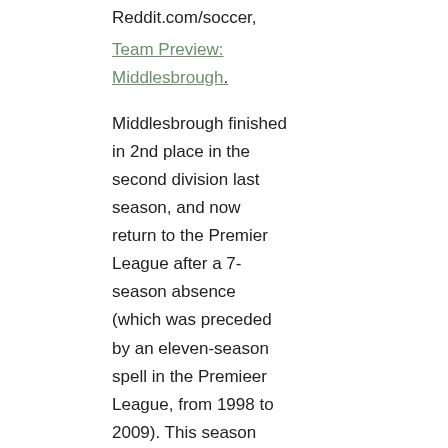Reddit.com/soccer,
Team Preview: Middlesbrough.
Middlesbrough finished in 2nd place in the second division last season, and now return to the Premier League after a 7-season absence (which was preceded by an eleven-season spell in the Premieer League, from 1998 to 2009). This season [2016-17] will be Middlesbrough's 61st season in the top flight